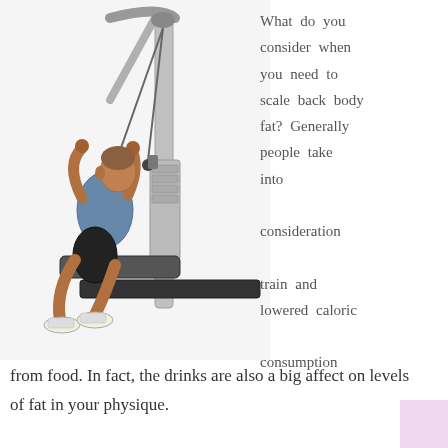[Figure (photo): A man exercising on a cable chest press machine in a gym setting, sitting on a bench and pulling cables upward.]
What do you consider when you need to scale back body fat? Generally people take into consideration train and lowered caloric consumption from food. In fact, the drinks are also a big affect on levels of fat in your physique.